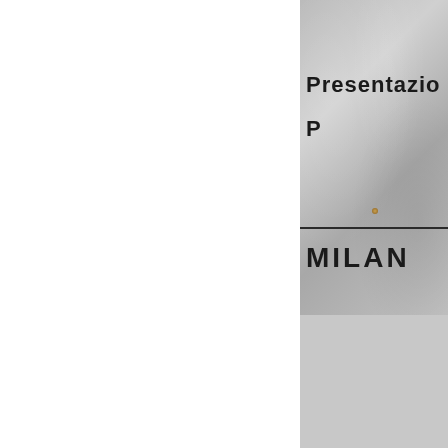[Figure (photo): Partial view of a book or magazine cover on textured grey paper background. Shows text 'Presentazio' (truncated), 'P' (truncated), a horizontal divider line, and 'MILAN' (truncated). A small nail or pin is visible on the cover.]
1939 | Creazi
Milan
Source: URIC maga
COPYRIGHT © 2018